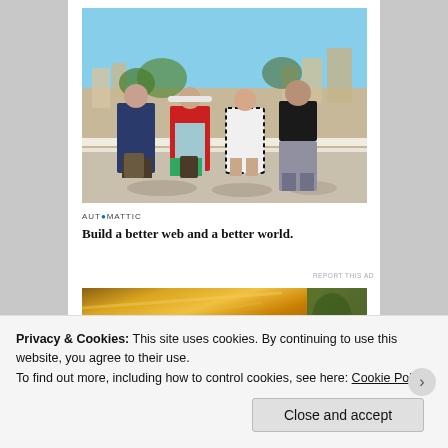[Figure (photo): Four people posing on a rooftop terrace or balcony with a hillside city in the background. Two women in floral/patterned dresses, one woman in a red jacket with a white hat, and one man in a black tank top and gray pants. Sunny day.]
AUTOMATTIC
Build a better web and a better world.
REPORT THIS AD
[Figure (photo): Partial view of what appears to be a decorative image with warm golden/orange tones and some green foliage on the right side.]
Privacy & Cookies: This site uses cookies. By continuing to use this website, you agree to their use.
To find out more, including how to control cookies, see here: Cookie Policy
Close and accept